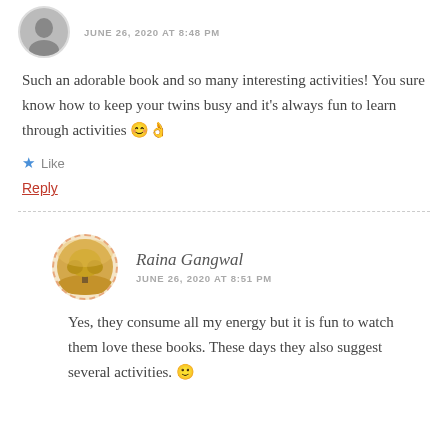JUNE 26, 2020 AT 8:48 PM
Such an adorable book and so many interesting activities! You sure know how to keep your twins busy and it's always fun to learn through activities 😊👌
Like
Reply
Raina Gangwal
JUNE 26, 2020 AT 8:51 PM
Yes, they consume all my energy but it is fun to watch them love these books. These days they also suggest several activities. 🙂